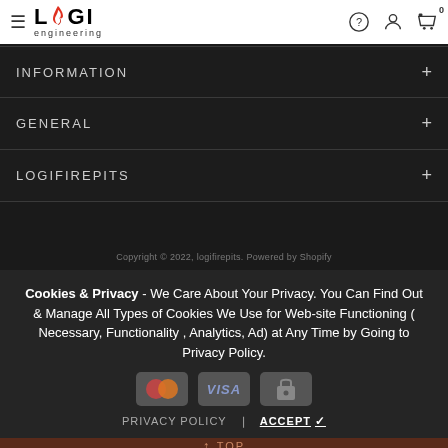LOGI engineering — navigation header with hamburger menu, help, user, and cart icons
INFORMATION
GENERAL
LOGIFIREPITS
Copyright © 2022, logifirepits. Powered by Shopify
Cookies & Privacy - We Care About Your Privacy. You Can Find Out & Manage All Types of Cookies We Use for Web-site Functioning ( Necessary, Functionality , Analytics, Ad) at Any Time by Going to Privacy Policy.
PRIVACY POLICY     ACCEPT ✓